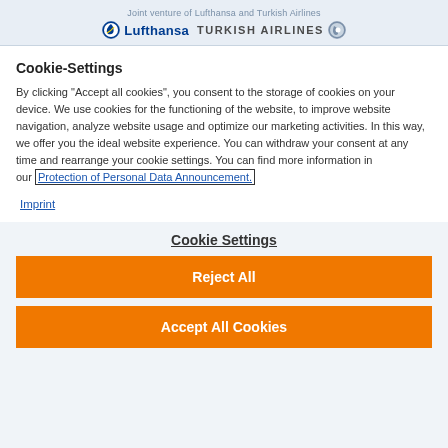Joint venture of Lufthansa and Turkish Airlines — Lufthansa | TURKISH AIRLINES
Cookie-Settings
By clicking "Accept all cookies", you consent to the storage of cookies on your device. We use cookies for the functioning of the website, to improve website navigation, analyze website usage and optimize our marketing activities. In this way, we offer you the ideal website experience. You can withdraw your consent at any time and rearrange your cookie settings. You can find more information in our Protection of Personal Data Announcement.
Imprint
Cookie Settings
Reject All
Accept All Cookies